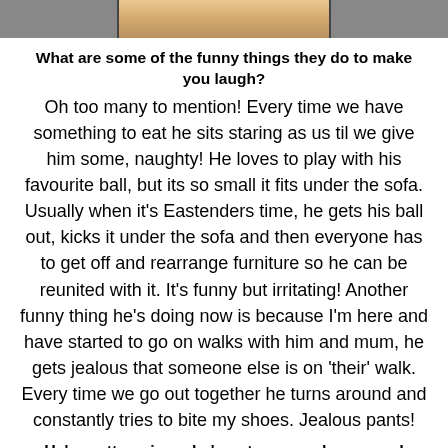[Figure (photo): Bottom edge of a photo showing food items, cropped at top of page]
What are some of the funny things they do to make you laugh?
Oh too many to mention! Every time we have something to eat he sits staring as us til we give him some, naughty! He loves to play with his favourite ball, but its so small it fits under the sofa. Usually when it's Eastenders time, he gets his ball out, kicks it under the sofa and then everyone has to get off and rearrange furniture so he can be reunited with it. It's funny but irritating! Another funny thing he's doing now is because I'm here and have started to go on walks with him and mum, he gets jealous that someone else is on 'their' walk. Every time we go out together he turns around and constantly tries to bite my shoes. Jealous pants!
He's pretty unique, he's got one wonky eye and constantly has his